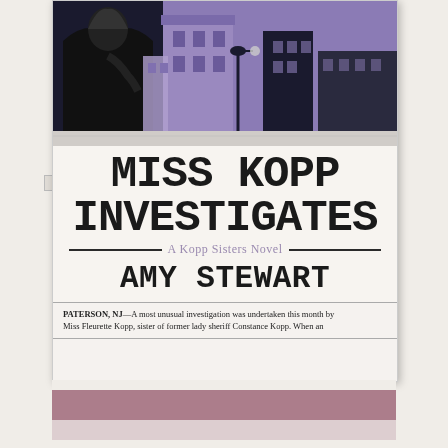[Figure (illustration): Book cover illustration showing a noir-style figure in black with purple and black city/building scene behind, in woodcut/linocut style with purple and black tones]
MISS KOPP INVESTIGATES
A Kopp Sisters Novel
AMY STEWART
PATERSON, NJ—A most unusual investigation was undertaken this month by Miss Fleurette Kopp, sister of former lady sheriff Constance Kopp. When an
[Figure (other): Partial view of a mauve/dusty rose colored horizontal bar or stripe at the bottom of the page, appearing to be the spine or edge of another book]